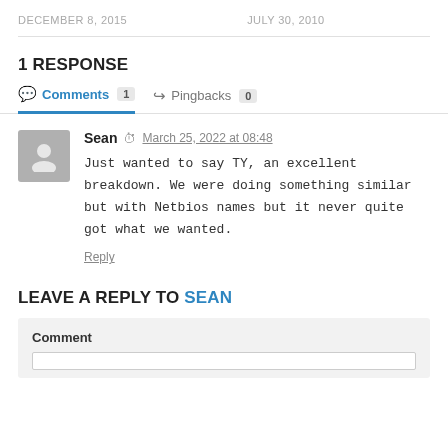DECEMBER 8, 2015    JULY 30, 2010
1 RESPONSE
Comments 1   Pingbacks 0
Sean  March 25, 2022 at 08:48
Just wanted to say TY, an excellent breakdown. We were doing something similar but with Netbios names but it never quite got what we wanted.
Reply
LEAVE A REPLY TO SEAN
Comment